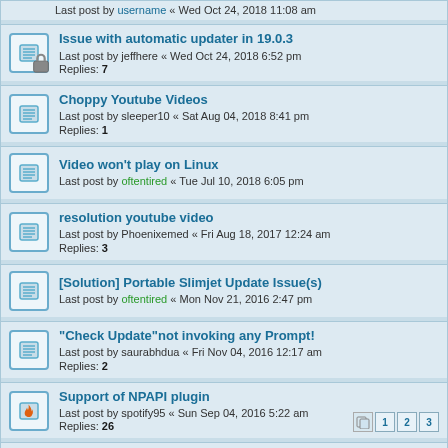Last post by username « Wed Oct 24, 2018 (partial top row)
Issue with automatic updater in 19.0.3
Last post by jeffhere « Wed Oct 24, 2018 6:52 pm
Replies: 7
Choppy Youtube Videos
Last post by sleeper10 « Sat Aug 04, 2018 8:41 pm
Replies: 1
Video won't play on Linux
Last post by oftentired « Tue Jul 10, 2018 6:05 pm
resolution youtube video
Last post by Phoenixemed « Fri Aug 18, 2017 12:24 am
Replies: 3
[Solution] Portable Slimjet Update Issue(s)
Last post by oftentired « Mon Nov 21, 2016 2:47 pm
"Check Update"not invoking any Prompt!
Last post by saurabhdua « Fri Nov 04, 2016 12:17 am
Replies: 2
Support of NPAPI plugin
Last post by spotify95 « Sun Sep 04, 2016 5:22 am
Replies: 26
https access issue with Windows XP sp2
Last post by flashpeak « Tue Jul 19, 2016 2:45 pm
Replies: 1
Windows 10 build 14316 Narrow font issue
Last post by rseilersj « Mon Jun 06, 2016 10:16 am
Replies: 9